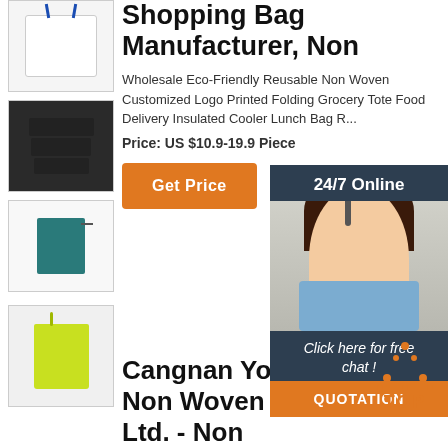[Figure (photo): White tote bag with blue handles]
[Figure (photo): Black folded bags with handles]
[Figure (photo): Teal small pouch/bag with tag]
[Figure (photo): Yellow non-woven tote bag with handle]
Shopping Bag Manufacturer, Non
Wholesale Eco-Friendly Reusable Non Woven Customized Logo Printed Folding Grocery Tote Food Delivery Insulated Cooler Lunch Bag R...
Price: US $10.9-19.9 Piece
Get Price
[Figure (photo): 24/7 Online customer service agent with headset]
Click here for free chat !
QUOTATION
Cangnan Yongchang Non Woven Fabric Co., Ltd. - Non
Waterproof. Insulated Cooler Bags. $0.60 - $0.65 Piece. 2000 Pieces (Min. Order) Customized logo printed